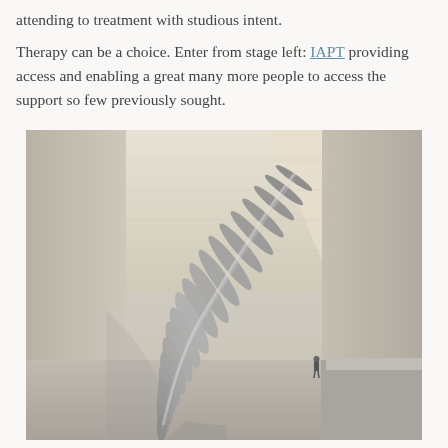attending to treatment with studious intent.

Therapy can be a choice. Enter from stage left: IAPT providing access and enabling a great many more people to access the support so few previously sought.
[Figure (photo): A large metallic sculptural installation resembling a spine or wave of blades, photographed inside a tall concrete-walled atrium. A small human figure is visible in the background near the base of the structure.]